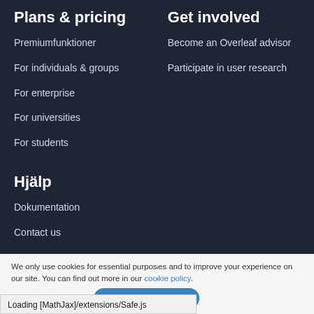Plans & pricing
Premiumfunktioner
For individuals & groups
For enterprise
For universities
For students
Get involved
Become an Overleaf advisor
Participate in user research
Hjälp
Dokumentation
Contact us
We only use cookies for essential purposes and to improve your experience on our site. You can find out more in our cookie policy.
Loading [MathJax]/extensions/Safe.js